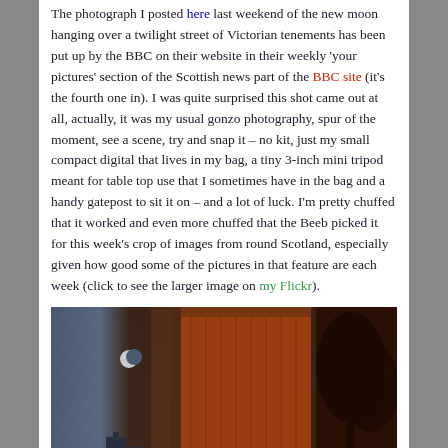The photograph I posted here last weekend of the new moon hanging over a twilight street of Victorian tenements has been put up by the BBC on their website in their weekly 'your pictures' section of the Scottish news part of the BBC site (it's the fourth one in). I was quite surprised this shot came out at all, actually, it was my usual gonzo photography, spur of the moment, see a scene, try and snap it – no kit, just my small compact digital that lives in my bag, a tiny 3-inch mini tripod meant for table top use that I sometimes have in the bag and a handy gatepost to sit it on – and a lot of luck. I'm pretty chuffed that it worked and even more chuffed that the Beeb picked it for this week's crop of images from round Scotland, especially given how good some of the pictures in that feature are each week (click to see the larger image on my Flickr).
[Figure (photo): Night photograph of Victorian tenement buildings lit in warm orange/red tones with a crescent moon visible in the twilight blue sky on the left side of the image and trees on the right.]